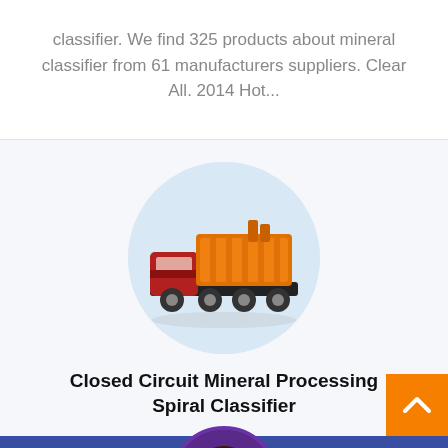classifier. We find 325 products about mineral classifier from 61 manufacturers suppliers. Clear All. 2014 Hot...
[Figure (photo): Circular cropped photo of a red and orange truck carrying mineral processing spiral classifier equipment, set against a light blue circle background.]
Closed Circuit Mineral Processing Spiral Classifier
Get Quotation
[Figure (photo): Circular avatar photo of a woman wearing a headset, customer service representative, purple background.]
Online Chat